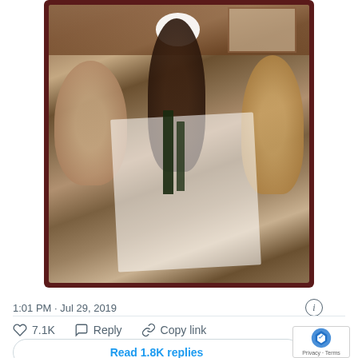[Figure (photo): A group of women seated around a long dining table set with white tablecloth, plates of food, bottles, and glasses, sharing a meal in a wood-paneled restaurant setting. One woman on the left has light hair; one in the center wears a white head wrap; one on the right wears a golden/tan shawl.]
1:01 PM · Jul 29, 2019
7.1K   Reply   Copy link
Read 1.8K replies